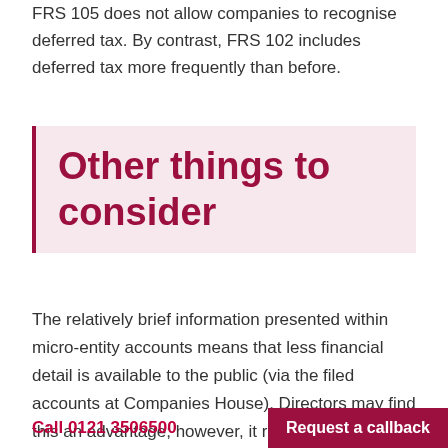FRS 105 does not allow companies to recognise deferred tax. By contrast, FRS 102 includes deferred tax more frequently than before.
Other things to consider
The relatively brief information presented within micro-entity accounts means that less financial detail is available to the public (via the filed accounts at Companies House). Directors may find this an advantage; however, it remains to be seen
Call 0121 3506500    Request a callback